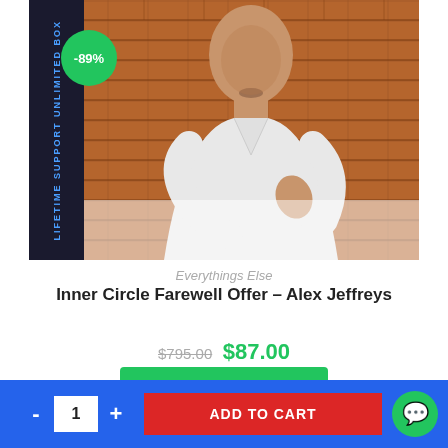[Figure (photo): Product image showing a bald man in a white shirt against a brick wall background, with a dark blue sidebar banner on the left showing text, and a green -89% discount badge overlay in the upper left.]
Everythings Else
Inner Circle Farewell Offer – Alex Jeffreys
$795.00 $87.00
Add to cart
- 1 + ADD TO CART